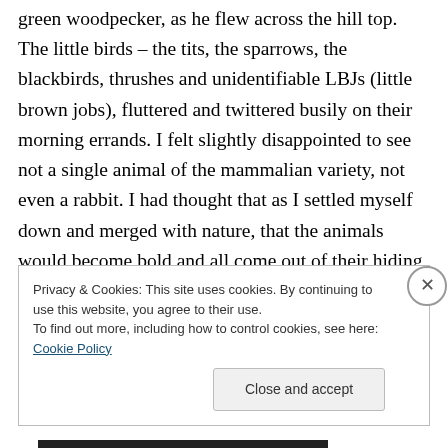green woodpecker, as he flew across the hill top. The little birds – the tits, the sparrows, the blackbirds, thrushes and unidentifiable LBJs (little brown jobs), fluttered and twittered busily on their morning errands. I felt slightly disappointed to see not a single animal of the mammalian variety, not even a rabbit. I had thought that as I settled myself down and merged with nature, that the animals would become bold and all come out of their hiding places. Even a small creature which had snuffled and scratched in a patch of nettles nearby, remained hidden. It was only to
Privacy & Cookies: This site uses cookies. By continuing to use this website, you agree to their use.
To find out more, including how to control cookies, see here: Cookie Policy